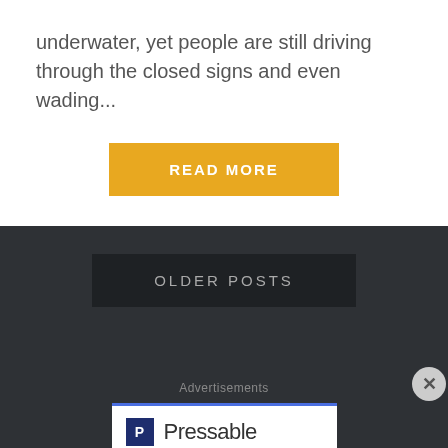underwater, yet people are still driving through the closed signs and even wading...
READ MORE
OLDER POSTS
Advertisements
[Figure (logo): Pressable logo with blue icon and text]
Advertisements
REPORT THIS AD